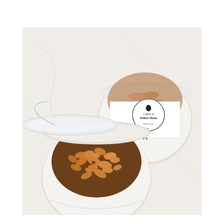[Figure (photo): Overhead view of two white ceramic bowls on a white marble surface. The left bowl is open with its clear plastic lid lifted, filled with golden-brown honey vanilla granola. The right bowl is sealed with a white paper band label reading 'Coffee at Yellow Hauz — Enjoy your HONEY VANILLA GRANOLA' with a leaf/plant logo, and the bowl contains granola visible through a clear lid.]